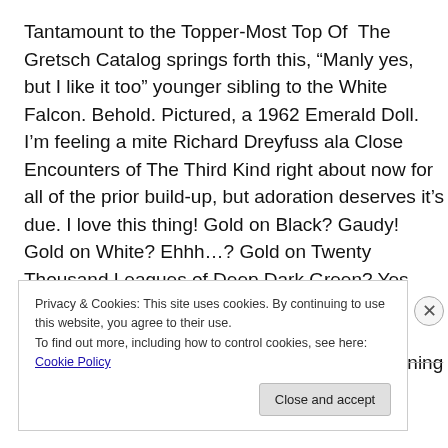Tantamount to the Topper-Most Top Of The Gretsch Catalog springs forth this, “Manly yes, but I like it too” younger sibling to the White Falcon. Behold. Pictured, a 1962 Emerald Doll. I’m feeling a mite Richard Dreyfuss ala Close Encounters of The Third Kind right about now for all of the prior build-up, but adoration deserves it’s due. I love this thing! Gold on Black? Gaudy! Gold on White? Ehhh…? Gold on Twenty Thousand Leagues of Deep Dark Green? Yes please! Thank You! Double Gretsch Filtertron Pickups, Bigsby Vibrato Tailpiece, Gretsch Space-Roller Bridge, Gold Grover Imperial Tuning
Privacy & Cookies: This site uses cookies. By continuing to use this website, you agree to their use.
To find out more, including how to control cookies, see here: Cookie Policy
Close and accept